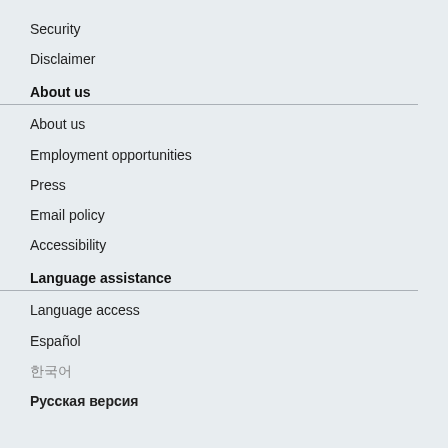Security
Disclaimer
About us
About us
Employment opportunities
Press
Email policy
Accessibility
Language assistance
Language access
Español
한국어
Русская версия